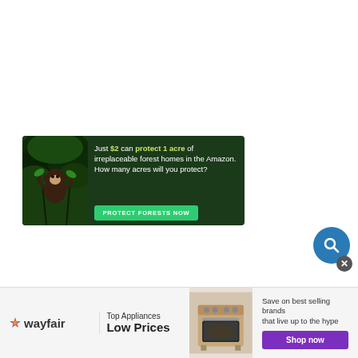[Figure (infographic): Amazon conservation banner ad: monkey in forest, text 'Just $2 can protect 1 acre of irreplaceable forest homes in the Amazon. How many acres will you protect?' with green 'PROTECT FORESTS NOW' button]
[Figure (infographic): Wayfair banner advertisement showing logo, 'Top Appliances Low Prices', image of a stove/range appliance, and 'Save on best selling brands that live up to the hype' with purple 'Shop now' button]